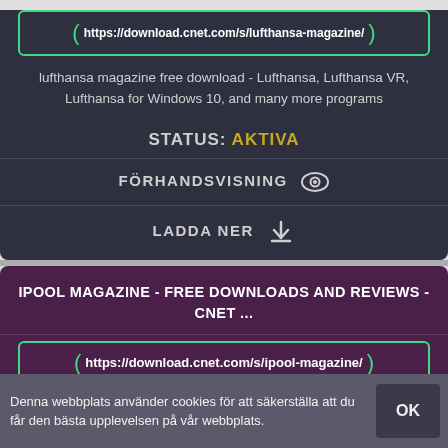https://download.cnet.com/s/lufthansa-magazine/
lufthansa magazine free download - Lufthansa, Lufthansa VR, Lufthansa for Windows 10, and many more programs
STATUS: AKTIVA
FÖRHANDSVISNING
LADDA NER
IPOOL MAGAZINE - FREE DOWNLOADS AND REVIEWS - CNET ...
https://download.cnet.com/s/ipool-magazine/
ipool magazine free download - iPool, My ipool, Zinio Magazine Reader, and
Denna webbplats använder cookies för att säkerställa att du får den bästa upplevelsen på vår webbplats.